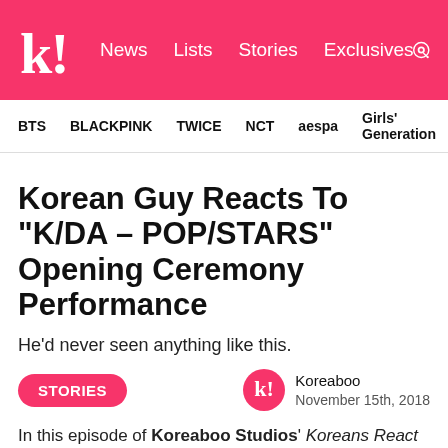k! News Lists Stories Exclusives
BTS  BLACKPINK  TWICE  NCT  aespa  Girls' Generation
Korean Guy Reacts To “K/DA – POP/STARS” Opening Ceremony Performance
He'd never seen anything like this.
STORIES
Koreaboo
November 15th, 2018
In this episode of Koreaboo Studios’ Koreans React series, we brought a curious K-Pop fan into the studio to watch the League of Legends’s “K/DA – POP/STARS” live